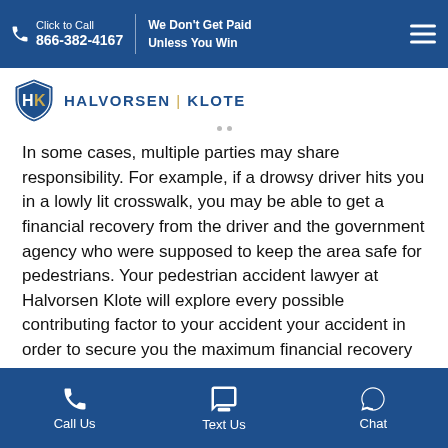Click to Call 866-382-4167 | We Don't Get Paid Unless You Win
[Figure (logo): Halvorsen Klote law firm logo with shield icon]
In some cases, multiple parties may share responsibility. For example, if a drowsy driver hits you in a lowly lit crosswalk, you may be able to get a financial recovery from the driver and the government agency who were supposed to keep the area safe for pedestrians. Your pedestrian accident lawyer at Halvorsen Klote will explore every possible contributing factor to your accident your accident in order to secure you the maximum financial recovery you are entitled to. This is extremely important if your damages exceed a driver's
Call Us | Text Us | Chat